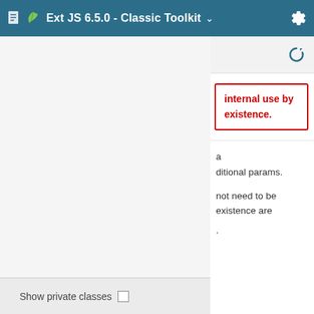Ext JS 6.5.0 - Classic Toolkit
internal use by existence.
aditional params. not need to be existence are
Show private classes